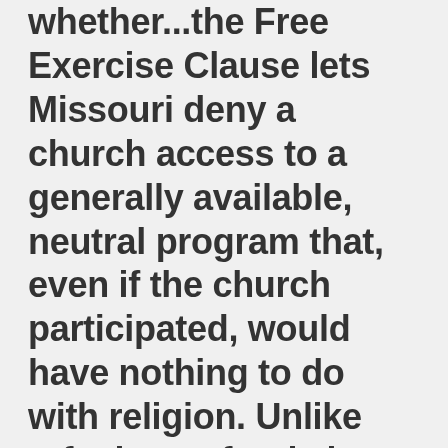whether...the Free Exercise Clause lets Missouri deny a church access to a generally available, neutral program that, even if the church participated, would have nothing to do with religion. Unlike refusing to fund clergy, refusing to...